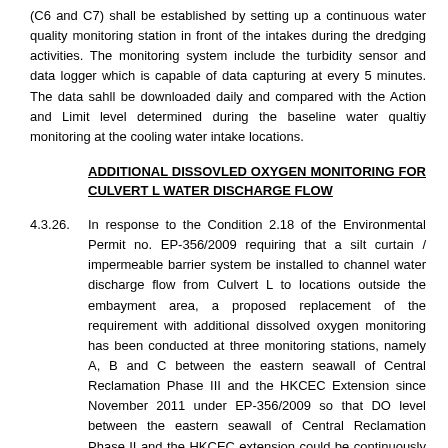(C6 and C7) shall be established by setting up a continuous water quality monitoring station in front of the intakes during the dredging activities. The monitoring system include the turbidity sensor and data logger which is capable of data capturing at every 5 minutes. The data sahll be downloaded daily and compared with the Action and Limit level determined during the baseline water qualtiy monitoring at the cooling water intake locations.
ADDITIONAL DISSOVLED OXYGEN MONITORING FOR CULVERT L WATER DISCHARGE FLOW
4.3.26.  In response to the Condition 2.18 of the Environmental Permit no. EP-356/2009 requiring that a silt curtain / impermeable barrier system be installed to channel water discharge flow from Culvert L to locations outside the embayment area, a proposed replacement of the requirement with additional dissolved oxygen monitoring has been conducted at three monitoring stations, namely A, B and C between the eastern seawall of Central Reclamation Phase III and the HKCEC Extension since November 2011 under EP-356/2009 so that DO level between the eastern seawall of Central Reclamation Phase II and the HKCEC extension could be continuously monitored.